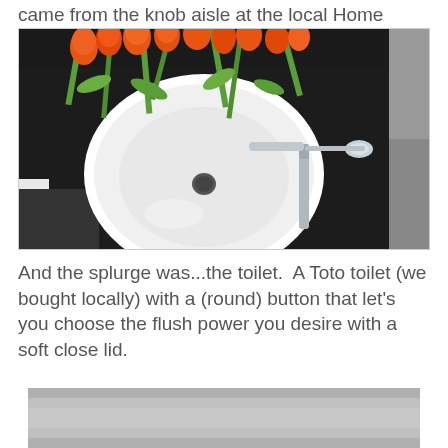came from the knob aisle at the local Home Depot.
[Figure (photo): Overhead view of a round white vessel sink on a black granite countertop with chrome faucet and orange tulip bouquet above.]
And the splurge was...the toilet.  A Toto toilet (we bought locally) with a (round) button that let's you choose the flush power you desire with a soft close lid.
[Figure (photo): Partial view of a toilet, grey/white tones, cropped at bottom of page.]